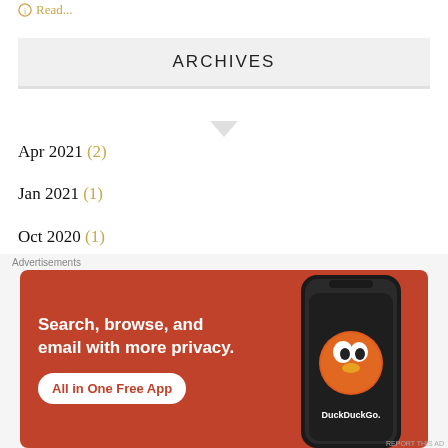Read...
ARCHIVES
Apr 2021 (2)
Jan 2021 (1)
Oct 2020 (1)
Aug 2020 (1)
[Figure (other): DuckDuckGo advertisement banner: 'Search, browse, and email with more privacy. All in One Free App' with phone mockup showing DuckDuckGo app icon]
Advertisements